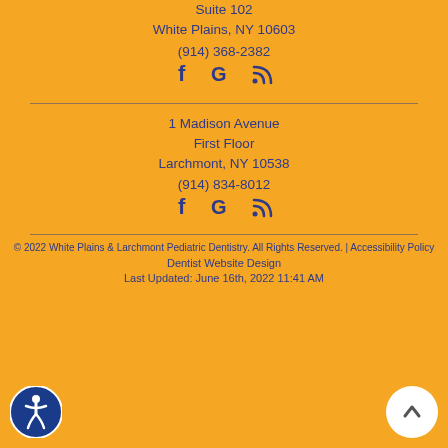Suite 102
White Plains, NY 10603
(914) 368-2382
[Figure (other): Social media icons: Facebook, Google, RSS]
1 Madison Avenue
First Floor
Larchmont, NY 10538
(914) 834-8012
[Figure (other): Social media icons: Facebook, Google, RSS]
© 2022 White Plains & Larchmont Pediatric Dentistry. All Rights Reserved. | Accessibility Policy
Dentist Website Design
Last Updated: June 16th, 2022 11:41 AM